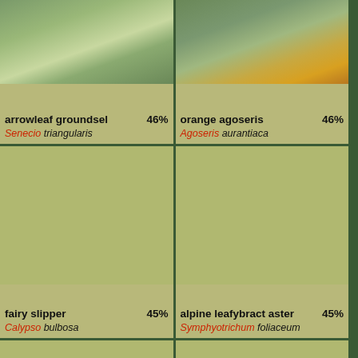[Figure (photo): Photo of arrowleaf groundsel plant with grey-green leaves]
arrowleaf groundsel 46%
Senecio triangularis
[Figure (photo): Photo of orange agoseris flower with orange petals]
orange agoseris 46%
Agoseris aurantiaca
[Figure (photo): Photo placeholder for fairy slipper]
fairy slipper 45%
Calypso bulbosa
[Figure (photo): Photo placeholder for alpine leafybract aster]
alpine leafybract aster 45%
Symphyotrichum foliaceum
[Figure (photo): Photo placeholder for Lewis's mock orange]
Lewis's mock orange 45%
[Figure (photo): Photo placeholder for European mountain-ash]
European mountain-ash 45%